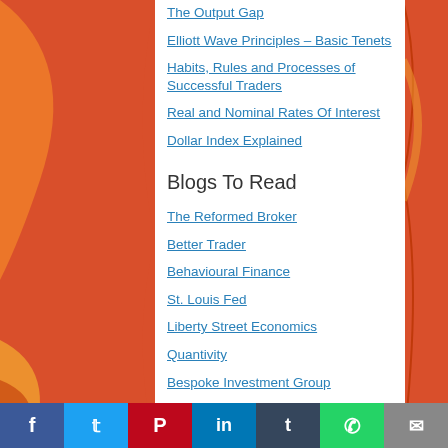The Output Gap
Elliott Wave Principles – Basic Tenets
Habits, Rules and Processes of Successful Traders
Real and Nominal Rates Of Interest
Dollar Index Explained
Blogs To Read
The Reformed Broker
Better Trader
Behavioural Finance
St. Louis Fed
Liberty Street Economics
Quantivity
Bespoke Investment Group